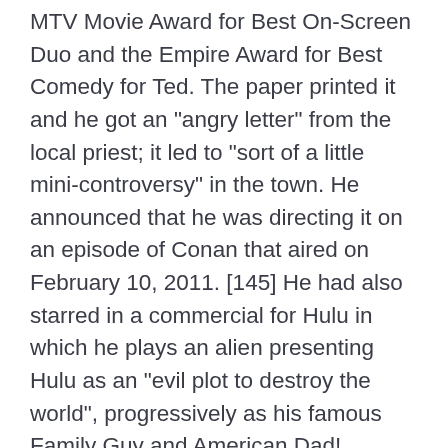MTV Movie Award for Best On-Screen Duo and the Empire Award for Best Comedy for Ted. The paper printed it and he got an "angry letter" from the local priest; it led to "sort of a little mini-controversy" in the town. He announced that he was directing it on an episode of Conan that aired on February 10, 2011. [145] He had also starred in a commercial for Hulu in which he plays an alien presenting Hulu as an "evil plot to destroy the world", progressively as his famous Family Guy and American Dad! MacFarlane has been nominated for five Grammy Awards for his musical work. Jazz musician Seth MacFarlane's bio, concert & touring information, albums, reviews, videos, photos and more, fan himself